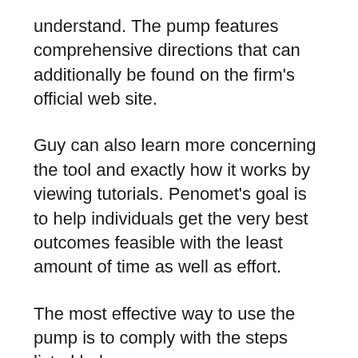understand. The pump features comprehensive directions that can additionally be found on the firm's official web site.
Guy can also learn more concerning the tool and exactly how it works by viewing tutorials. Penomet's goal is to help individuals get the very best outcomes feasible with the least amount of time as well as effort.
The most effective way to use the pump is to comply with the steps listed below:.
The most effective approach is to start with the most affordable gaiter setting. Usually, this is the purple colored 60 gaiter. If this